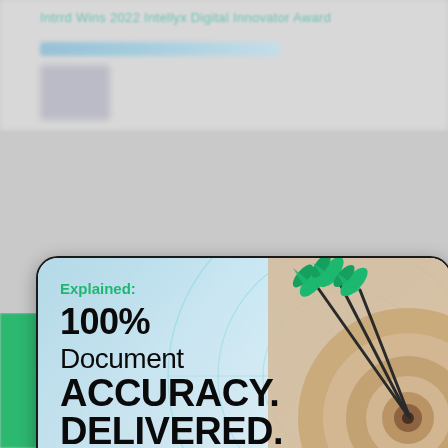Intrrd Wins 2022 Intellyx Digital Innovator Award
[Figure (screenshot): Promotional banner card with rounded corners on a blurred background. The card shows on the left: green text 'Explained:' followed by large bold black text '100% Document ACCURACY. DELIVERED.' and a black bottom bar with white text 'Download the eBook' with a small icon. On the right side of the card is a photo of three green darts hitting a bullseye target board, with a faint circular crosshair graphic overlay.]